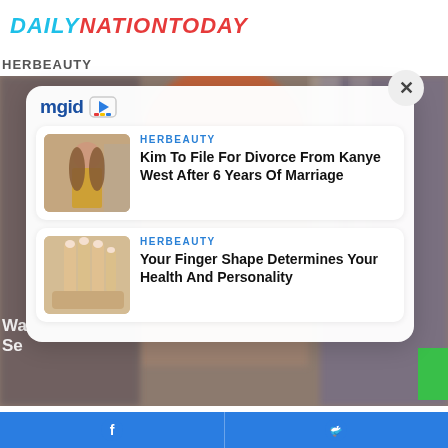DAILYNATIONTODAY
HERBEAUTY
[Figure (screenshot): Blurred background photo of a red-haired person in a crowd/store]
[Figure (screenshot): mgid widget popup with two article cards: 1) Kim To File For Divorce From Kanye West After 6 Years Of Marriage (HERBEAUTY), 2) Your Finger Shape Determines Your Health And Personality (HERBEAUTY)]
Kim To File For Divorce From Kanye West After 6 Years Of Marriage
Your Finger Shape Determines Your Health And Personality
Facebook share / Twitter share bar